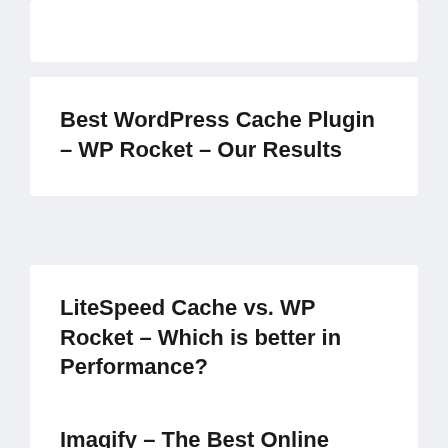Best WordPress Cache Plugin – WP Rocket – Our Results
LiteSpeed Cache vs. WP Rocket – Which is better in Performance?
Imagify – The Best Online Image